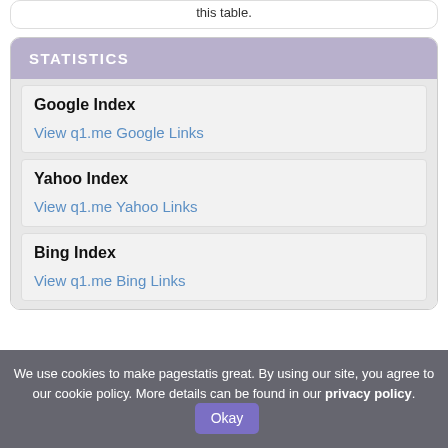this table.
STATISTICS
Google Index
View q1.me Google Links
Yahoo Index
View q1.me Yahoo Links
Bing Index
View q1.me Bing Links
We use cookies to make pagestatis great. By using our site, you agree to our cookie policy. More details can be found in our privacy policy. Okay